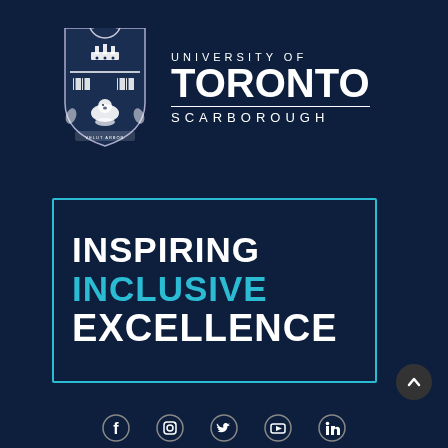[Figure (logo): University of Toronto Scarborough shield/crest logo in white on dark navy background, with a tree on top and beaver at the bottom]
UNIVERSITY OF TORONTO SCARBOROUGH
INSPIRING INCLUSIVE EXCELLENCE
[Figure (other): Social media icons for Facebook, Instagram, Twitter, YouTube, and LinkedIn at the bottom of the page]
[Figure (other): Scroll-to-top button (chevron up) in dark circle at bottom right]